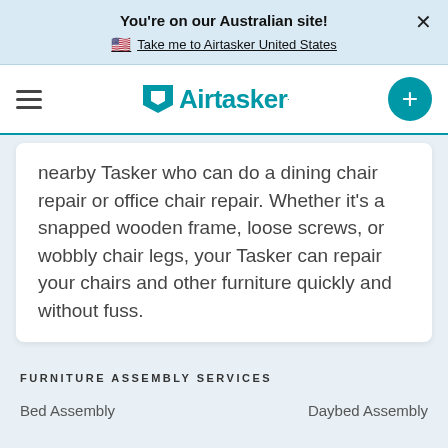You're on our Australian site!
Take me to Airtasker United States
[Figure (logo): Airtasker logo with hamburger menu icon on left and teal plus button on right]
nearby Tasker who can do a dining chair repair or office chair repair. Whether it's a snapped wooden frame, loose screws, or wobbly chair legs, your Tasker can repair your chairs and other furniture quickly and without fuss.
FURNITURE ASSEMBLY SERVICES
Bed Assembly
Daybed Assembly